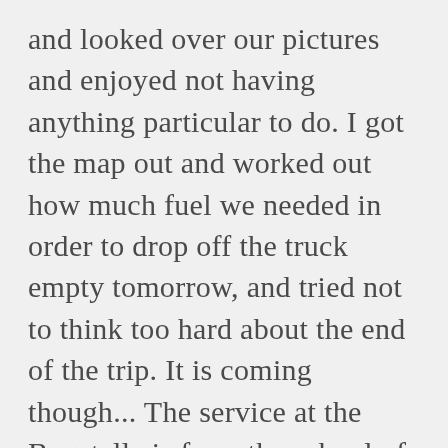and looked over our pictures and enjoyed not having anything particular to do. I got the map out and worked out how much fuel we needed in order to drop off the truck empty tomorrow, and tried not to think too hard about the end of the trip. It is coming though... The service at the Bagatelle is from the school of “Well Meaning but Erratic”. They seemed to be taken aback by our reservation and puzzled over the fact that we had booked meals with them. When we wanted lunch the incredibly smiley lady said “yes of course” and rushed